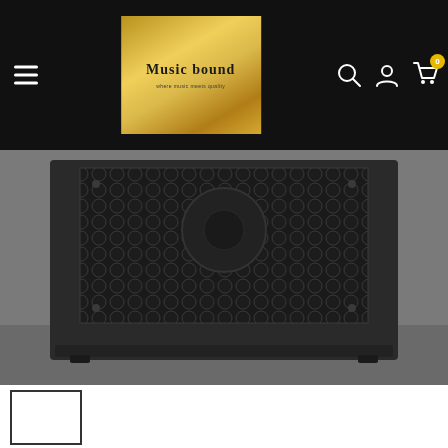[Figure (screenshot): E-commerce website header with black navigation bar. Left side has hamburger menu icon. Center has Music Bound logo on gold/yellow gradient background. Right side has search, account, and cart icons with badge showing 0.]
[Figure (photo): Close-up photo of a black guitar amplifier cabinet with hexagonal mesh grille covering a speaker, sitting on a grey floor.]
[Figure (photo): Small thumbnail image placeholder with white background and black border at bottom left of page.]